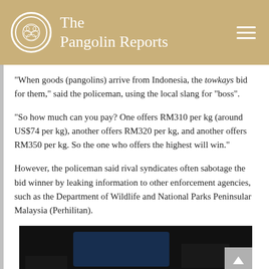The Pangolin Reports
“When goods (pangolins) arrive from Indonesia, the towkays bid for them,” said the policeman, using the local slang for “boss”.
“So how much can you pay? One offers RM310 per kg (around US$74 per kg), another offers RM320 per kg, and another offers RM350 per kg. So the one who offers the highest will win.”
However, the policeman said rival syndicates often sabotage the bid winner by leaking information to other enforcement agencies, such as the Department of Wildlife and National Parks Peninsular Malaysia (Perhilitan).
[Figure (photo): A dark photograph showing what appears to be a blue bag or container in a dimly lit setting.]